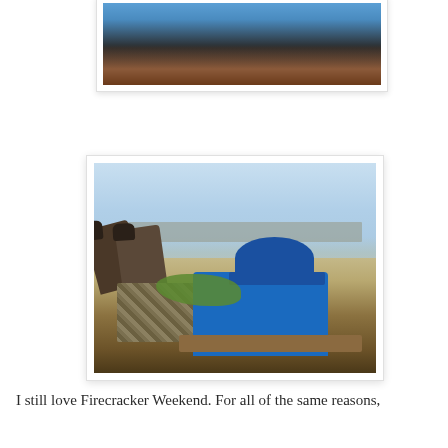[Figure (photo): Partial photo card showing top portion of image with blue sky and a person in a blue shirt, visible from shoulder up; bottom portion cropped]
[Figure (photo): Photo of a person lying on their back on a hillside overlook wearing a blue LA Dodgers cap and blue hoodie with camo pants, looking out over a panoramic view of Los Angeles cityscape under a hazy blue sky]
I still love Firecracker Weekend. For all of the same reasons,